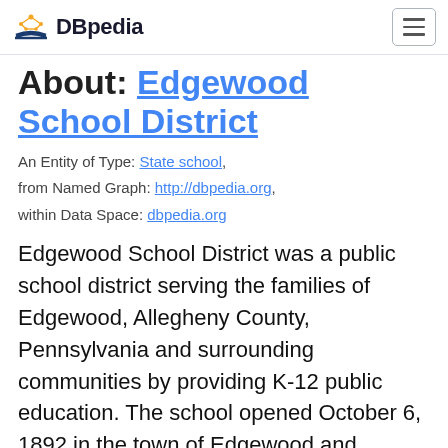DBpedia
About: Edgewood School District
An Entity of Type: State school, from Named Graph: http://dbpedia.org, within Data Space: dbpedia.org
Edgewood School District was a public school district serving the families of Edgewood, Allegheny County, Pennsylvania and surrounding communities by providing K-12 public education. The school opened October 6, 1892 in the town of Edgewood and operated for 90 years before closing.The